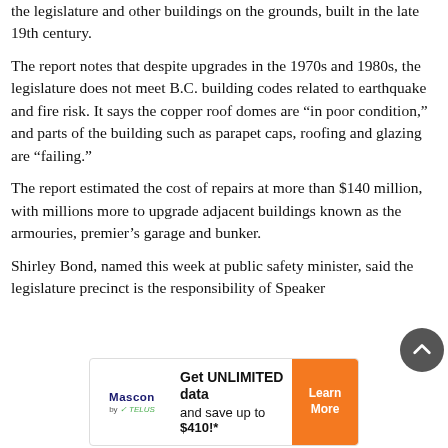the legislature and other buildings on the grounds, built in the late 19th century.
The report notes that despite upgrades in the 1970s and 1980s, the legislature does not meet B.C. building codes related to earthquake and fire risk. It says the copper roof domes are “in poor condition,” and parts of the building such as parapet caps, roofing and glazing are “failing.”
The report estimated the cost of repairs at more than $140 million, with millions more to upgrade adjacent buildings known as the armouries, premier’s garage and bunker.
Shirley Bond, named this week at public safety minister, said the legislature precinct is the responsibility of Speaker
[Figure (other): Advertisement banner for Mascon by TELUS: Get UNLIMITED data and save up to $410!* with a Learn More button]